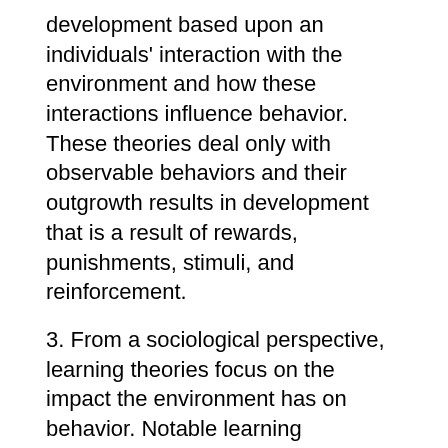development based upon an individuals' interaction with the environment and how these interactions influence behavior. These theories deal only with observable behaviors and their outgrowth results in development that is a result of rewards, punishments, stimuli, and reinforcement.
3. From a sociological perspective, learning theories focus on the impact the environment has on behavior. Notable learning processes include, classical conditioning, operant conditioning, and social learning, each of which is formulated as a result of the interaction between the individual and the environment.
In contrast, cognitive theories focus on the development of mental processes, skills, and abilities. One of the most well-known cognitive theories is that of Jean Piaget. In his theory of cognitive development, he proposed the notion that children think differently from adults and, thus, he put forth the idea that children play an instrumental role in gaining insight